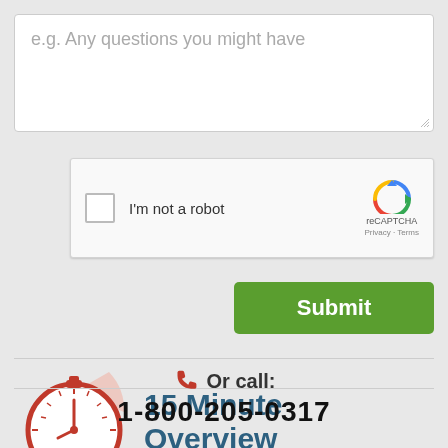[Figure (screenshot): Textarea input field with placeholder text 'e.g. Any questions you might have']
[Figure (screenshot): reCAPTCHA widget with checkbox and 'I'm not a robot' label, reCAPTCHA logo, Privacy and Terms links]
[Figure (screenshot): Green Submit button]
[Figure (infographic): Red stopwatch icon with '15 Minutes' label inside, with pink sweep indicator, and text '15 Minute Overview' in dark teal]
Or call:
1-800-205-0317